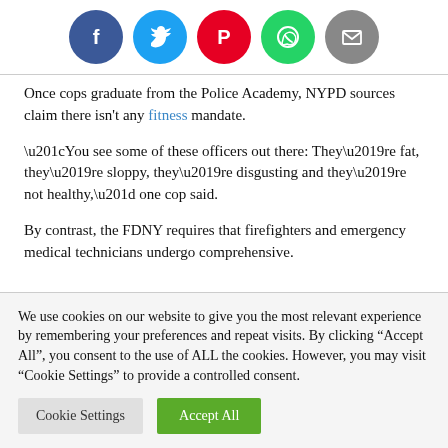[Figure (other): Social media share icons row: Facebook (blue circle), Twitter (light blue circle), Pinterest (red circle), WhatsApp (green circle), Email (grey circle)]
Once cops graduate from the Police Academy, NYPD sources claim there isn't any fitness mandate.
“You see some of these officers out there: They’re fat, they’re sloppy, they’re disgusting and they’re not healthy,” one cop said.
By contrast, the FDNY requires that firefighters and emergency medical technicians undergo comprehensive.
We use cookies on our website to give you the most relevant experience by remembering your preferences and repeat visits. By clicking “Accept All”, you consent to the use of ALL the cookies. However, you may visit "Cookie Settings" to provide a controlled consent.